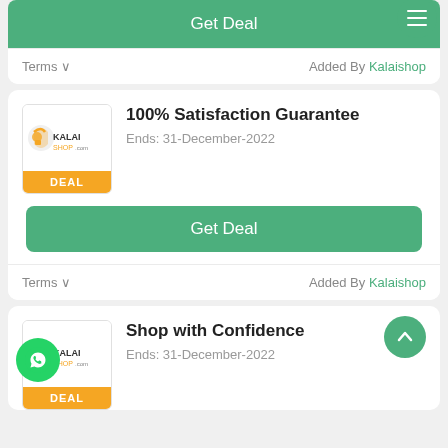[Figure (screenshot): Green Get Deal button at top of card with hamburger menu icon in green circle]
Terms ∨    Added By Kalaishop
[Figure (logo): Kalaishop logo with orange icon and text KALAISHOP.com, DEAL label in orange]
100% Satisfaction Guarantee
Ends: 31-December-2022
[Figure (screenshot): Green Get Deal button]
Terms ∨    Added By Kalaishop
[Figure (logo): Kalaishop logo with orange icon and text KALAISHOP.com, DEAL label in orange, whatsapp icon bottom left]
Shop with Confidence
Ends: 31-December-2022